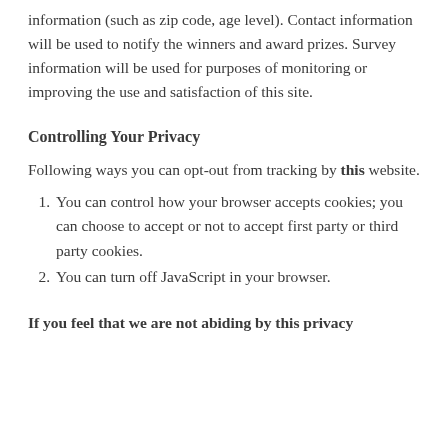information (such as zip code, age level). Contact information will be used to notify the winners and award prizes. Survey information will be used for purposes of monitoring or improving the use and satisfaction of this site.
Controlling Your Privacy
Following ways you can opt-out from tracking by this website.
You can control how your browser accepts cookies; you can choose to accept or not to accept first party or third party cookies.
You can turn off JavaScript in your browser.
If you feel that we are not abiding by this privacy